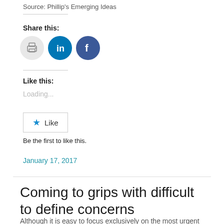Source: Phillip's Emerging Ideas
Share this:
[Figure (other): Social sharing icons: print (gray circle), LinkedIn (blue circle), Facebook (dark blue circle)]
Like this:
Loading...
[Figure (other): Like button with star icon and text 'Like']
Be the first to like this.
January 17, 2017
Coming to grips with difficult to define concerns
Although it is easy to focus exclusively on the most urgent